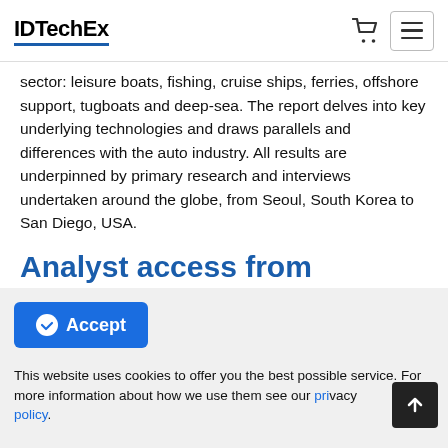IDTechEx
sector: leisure boats, fishing, cruise ships, ferries, offshore support, tugboats and deep-sea. The report delves into key underlying technologies and draws parallels and differences with the auto industry. All results are underpinned by primary research and interviews undertaken around the globe, from Seoul, South Korea to San Diego, USA.
Analyst access from IDTechEx
All report purchases include up to 30 minutes telephone time with an expert analyst who will help you link key findings in the report to the business issues you're addressing. This needs to
Accept
This website uses cookies to offer you the best possible service. For more information about how we use them see our privacy policy.